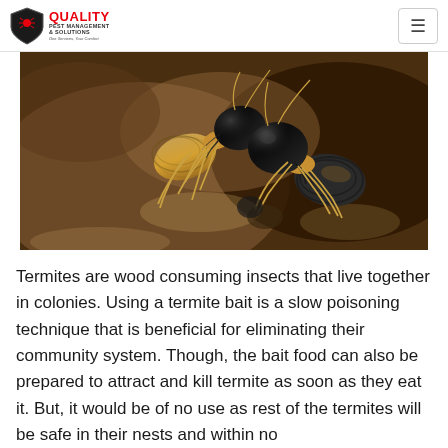Quality Pest Management & Solutions | One Services, Your Comfort
[Figure (photo): Close-up macro photograph of two termites (soldier termites) on a rocky/sandy surface. The termites have dark black heads and golden-yellow bodies and legs.]
Termites are wood consuming insects that live together in colonies. Using a termite bait is a slow poisoning technique that is beneficial for eliminating their community system. Though, the bait food can also be prepared to attract and kill termite as soon as they eat it. But, it would be of no use as rest of the termites will be safe in their nests and within no